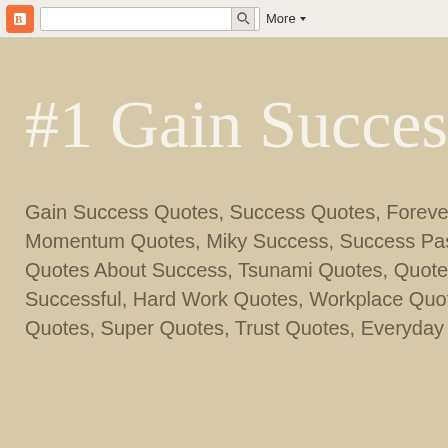Blogger | More
#1 Gain Success Q...
Gain Success Quotes, Success Quotes, Forever Suc... Momentum Quotes, Miky Success, Success Passion ... Quotes About Success, Tsunami Quotes, Quotes on S... Successful, Hard Work Quotes, Workplace Quotes, F... Quotes, Super Quotes, Trust Quotes, Everyday Powe...